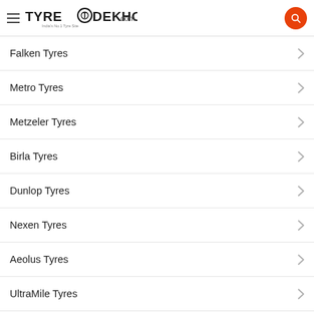TyreDekho.com — India's No.1 Tyre Site
Falken Tyres
Metro Tyres
Metzeler Tyres
Birla Tyres
Dunlop Tyres
Nexen Tyres
Aeolus Tyres
UltraMile Tyres